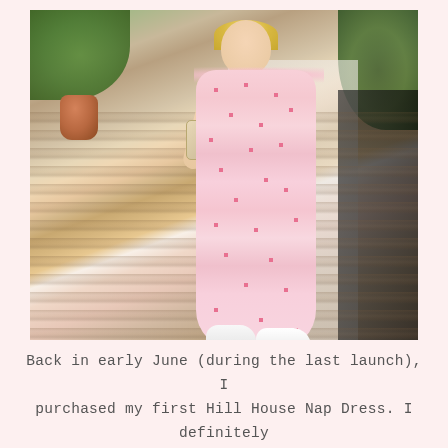[Figure (photo): A woman wearing a pink floral tiered midi dress with ruffle shoulders and white sneakers, carrying a wicker/rattan bag, walking on a wooden deck patio. Background includes green hedges, terracotta pots, white brick building, and black-framed glass doors.]
Back in early June (during the last launch), I purchased my first Hill House Nap Dress. I definitely